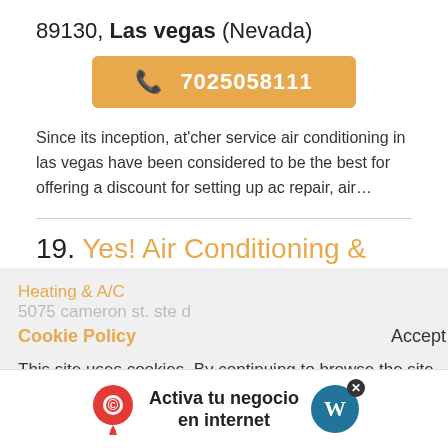89130, Las vegas (Nevada)
7025058111
Since its inception, at'cher service air conditioning in las vegas have been considered to be the best for offering a discount for setting up ac repair, air...
19. Yes! Air Conditioning & Plumbing
Category: Gas Leak Repair
Cookie Policy
Accept
This site uses cookies. By continuing to browse the site you are agreeing to our use of cookies. For
Activa tu negocio en internet